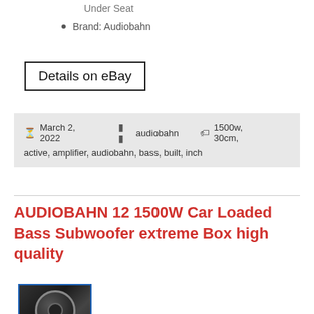Under Seat
Brand: Audiobahn
Details on eBay
March 2, 2022   audiobahn   1500w, 30cm, active, amplifier, audiobahn, bass, built, inch
AUDIOBAHN 12 1500W Car Loaded Bass Subwoofer extreme Box high quality
[Figure (photo): Thumbnail image of car subwoofer with '1500 watts' label, dark circular speaker visible, blue border]